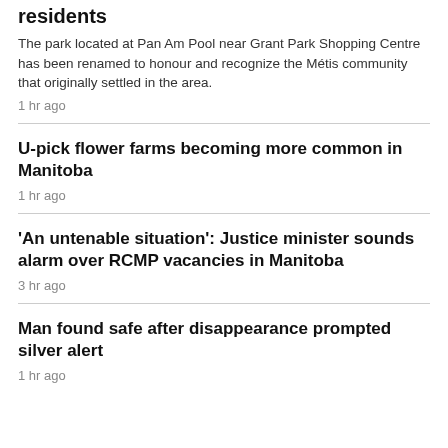residents
The park located at Pan Am Pool near Grant Park Shopping Centre has been renamed to honour and recognize the Métis community that originally settled in the area.
1 hr ago
U-pick flower farms becoming more common in Manitoba
1 hr ago
'An untenable situation': Justice minister sounds alarm over RCMP vacancies in Manitoba
3 hr ago
Man found safe after disappearance prompted silver alert
1 hr ago